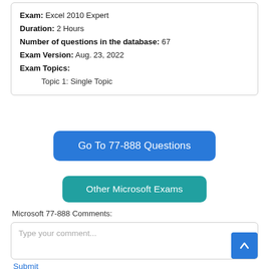Exam: Excel 2010 Expert
Duration: 2 Hours
Number of questions in the database: 67
Exam Version: Aug. 23, 2022
Exam Topics:
  Topic 1: Single Topic
Go To 77-888 Questions
Other Microsoft Exams
Microsoft 77-888 Comments:
Type your comment...
Submit